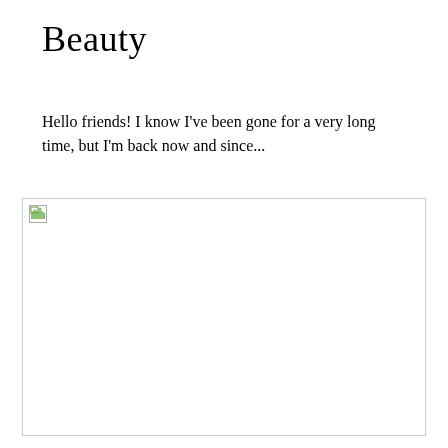Beauty
Hello friends! I know I've been gone for a very long time, but I'm back now and since...
[Figure (photo): Broken image placeholder — a large rectangular image region with a small broken image icon in the upper left corner, surrounded by a thin border.]